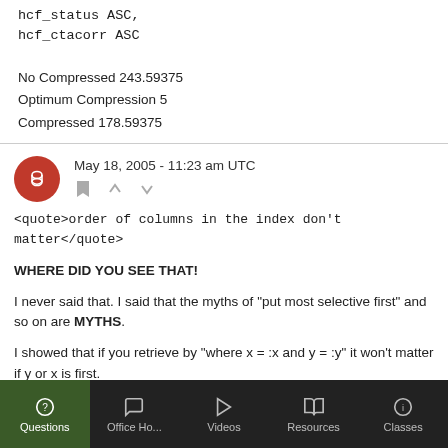hcf_status ASC,
hcf_ctacorr ASC
No Compressed 243.59375
Optimum Compression 5
Compressed 178.59375
May 18, 2005 - 11:23 am UTC
<quote>order of columns in the index don't matter</quote>
WHERE DID YOU SEE THAT!
I never said that. I said that the myths of "put most selective first" and so on are MYTHS.
I showed that if you retrieve by "where x = :x and y = :y" it won't matter if y or x is first.
Questions  Office Ho...  Videos  Resources  Classes